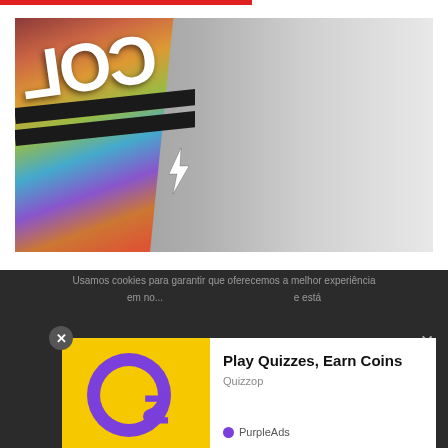[Figure (photo): Photo of a colorful printed package/bag corner with floral design and partial text 'COL' visible in white, on a grey surface.]
Usamos cookies para garantir que oferecemos a melhor experiência em no... e está
[Figure (infographic): Advertisement popup for 'Play Quizzes, Earn Coins' by Quizzop, featuring yellow background with purple Qz logo, PurpleAds branding. Has a close (x) button.]